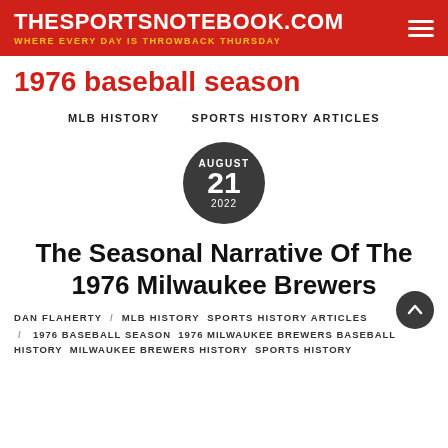THESPORTSNOTEBOOK.COM — WHERE EVERY DAY IS THROWBACK THURSDAY
1976 baseball season
MLB HISTORY    SPORTS HISTORY ARTICLES
[Figure (other): Dark circular date badge showing AUGUST 21 2022]
The Seasonal Narrative Of The 1976 Milwaukee Brewers
DAN FLAHERTY / MLB History  Sports History Articles / 1976 baseball season  1976 Milwaukee Brewers baseball history  Milwaukee Brewers history  sports history